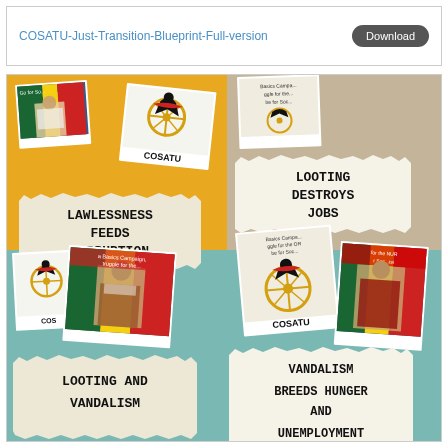COSATU-Just-Transition-Blueprint-Full-version   Download
[Figure (photo): COSATU campaign collage with polaroid-style photos of leaders and protest scenes, torn paper message signs reading 'LAWLESSNESS FEEDS CORRUPTION', 'LOOTING DESTROYS JOBS', 'LOOTING AND VANDALISM', 'VANDALISM BREEDS HUNGER AND UNEMPLOYMENT'. COSATU logos visible on multiple polaroid frames.]